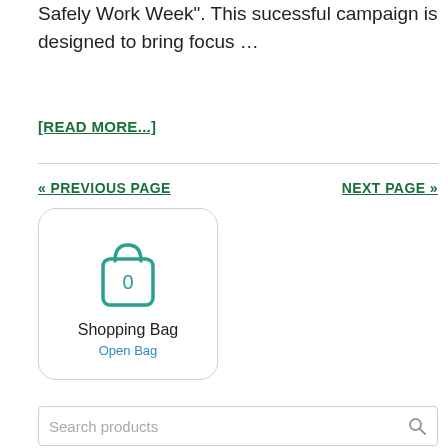Safely Work Week".  This sucessful campaign is designed to bring focus …
[READ MORE...]
« PREVIOUS PAGE
NEXT PAGE »
[Figure (illustration): Shopping bag widget with teal outline icon of a bag showing '0' inside, label 'Shopping Bag', and a link 'Open Bag']
Search products